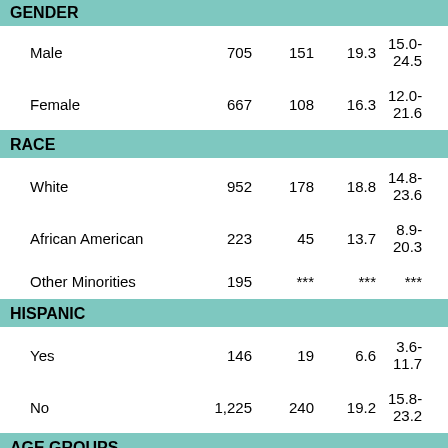|  | N | n | % | 95% CI |  |
| --- | --- | --- | --- | --- | --- |
| GENDER |  |  |  |  |  |
| Male | 705 | 151 | 19.3 | 15.0-24.5 |  |
| Female | 667 | 108 | 16.3 | 12.0-21.6 |  |
| RACE |  |  |  |  |  |
| White | 952 | 178 | 18.8 | 14.8-23.6 |  |
| African American | 223 | 45 | 13.7 | 8.9-20.3 |  |
| Other Minorities | 195 | *** | *** | *** |  |
| HISPANIC |  |  |  |  |  |
| Yes | 146 | 19 | 6.6 | 3.6-11.7 |  |
| No | 1,225 | 240 | 19.2 | 15.8-23.2 |  |
| AGE GROUPS |  |  |  |  |  |
| Under 5 | 312 | 25 | 6.2 | 3.4-11.0 |  |
| 5 through 10 | 390 | 66 | 16.6 | 11.6-23.3 |  |
| 11 through 13 | 273 | 67 | 32.6 | 23.4-43.3 |  |